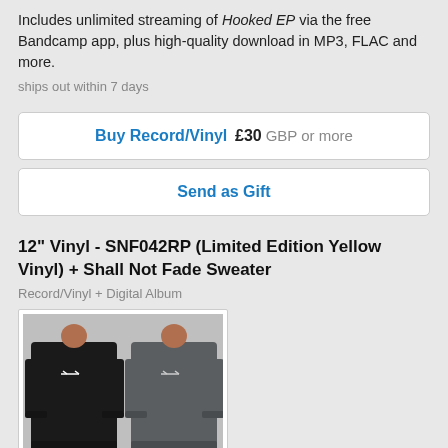Includes unlimited streaming of Hooked EP via the free Bandcamp app, plus high-quality download in MP3, FLAC and more.
ships out within 7 days
Buy Record/Vinyl  £30 GBP or more
Send as Gift
12" Vinyl - SNF042RP (Limited Edition Yellow Vinyl) + Shall Not Fade Sweater
Record/Vinyl + Digital Album
[Figure (photo): Two crewneck sweaters side by side — one black and one dark grey — each with a small printed logo on the chest.]
1 x yellow coloured 12" vinyl with printed Shall Not Fade sleeve, inner white disco bag and coloured printed centre stickers + limited edition Shall Not Fade sweater.